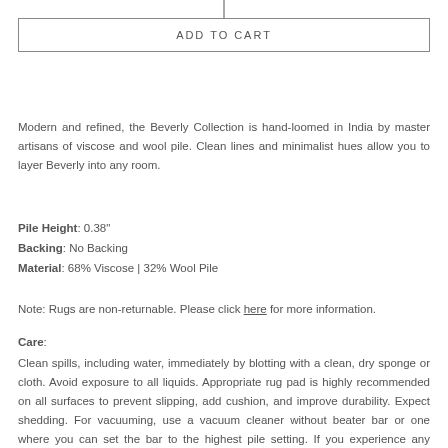[Figure (other): Vertical divider line at top center of page]
ADD TO CART
Modern and refined, the Beverly Collection is hand-loomed in India by master artisans of viscose and wool pile. Clean lines and minimalist hues allow you to layer Beverly into any room.
Pile Height: 0.38"
Backing: No Backing
Material: 68% Viscose | 32% Wool Pile
Note: Rugs are non-returnable. Please click here for more information.
Care:
Clean spills, including water, immediately by blotting with a clean, dry sponge or cloth. Avoid exposure to all liquids. Appropriate rug pad is highly recommended on all surfaces to prevent slipping, add cushion, and improve durability. Expect shedding. For vacuuming, use a vacuum cleaner without beater bar or one where you can set the bar to the highest pile setting. If you experience any shedding, vacuum setting to low...